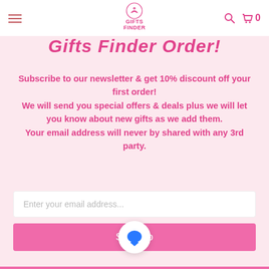Gifts Finder
Gifts Finder Order!
Subscribe to our newsletter & get 10% discount off your first order! We will send you special offers & deals plus we will let you know about new gifts as we add them. Your email address will never by shared with any 3rd party.
Enter your email address...
Sign Up